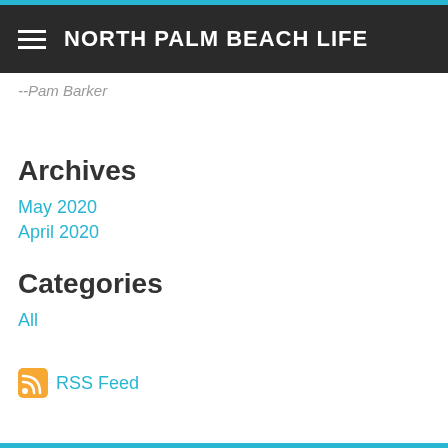NORTH PALM BEACH LIFE
--Pam Barker
Archives
May 2020
April 2020
Categories
All
RSS Feed